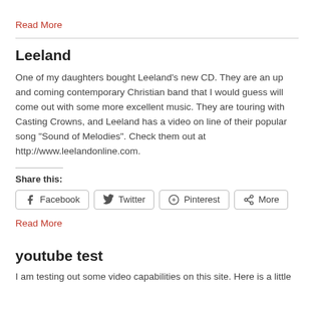Read More
Leeland
One of my daughters bought Leeland’s new CD. They are an up and coming contemporary Christian band that I would guess will come out with some more excellent music. They are touring with Casting Crowns, and Leeland has a video on line of their popular song “Sound of Melodies”. Check them out at http://www.leelandonline.com.
Share this:
Facebook  Twitter  Pinterest  More
Read More
youtube test
I am testing out some video capabilities on this site. Here is a little